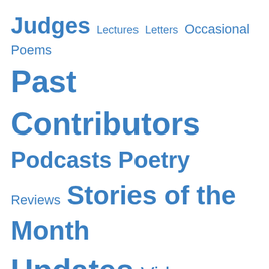Judges  Lectures  Letters  Occasional Poems  Past Contributors  Podcasts  Poetry  Reviews  Stories of the Month  Updates  Video
GALLERY
[Figure (photo): Portrait photo of Yelena Furman, a woman with shoulder-length dark hair wearing a red top]
Yelena Furman
[Figure (photo): Black and white photo of a man with glasses wearing a patterned shirt, arms crossed]
[Figure (photo): Color photo of a woman with short dark hair wearing a dark sweater, leaning against a light wall]